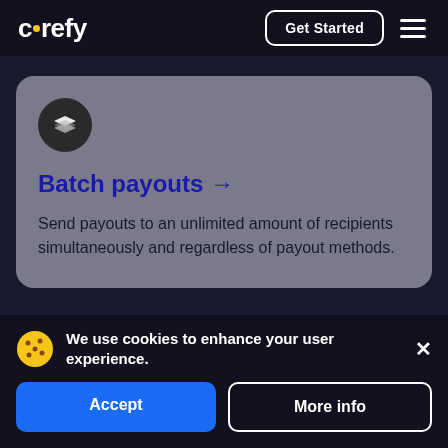corefy
Batch payouts →
Send payouts to an unlimited amount of recipients simultaneously and regardless of payout methods.
We use cookies to enhance your user experience.